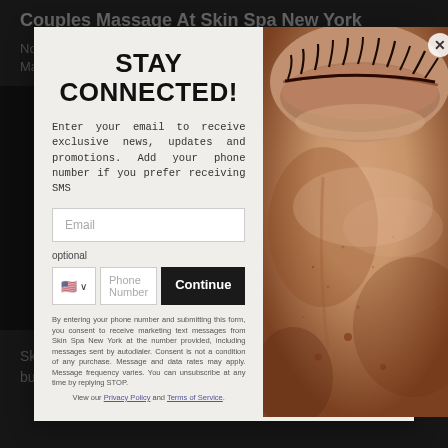Couples Massage At Skin Spa New York
Nothing says Happy Valentine's Day like a Couples Massage from Skin Spa New York! This 50-minute
[Figure (screenshot): Modal popup overlay with 'STAY CONNECTED!' heading, email and phone input fields, and a close-up photo of a person's eye and skin on the right side]
Skin Spa founder and CEO Tom Eizner chatted with HuffPo about business partnerships in the wellness and spa industry.